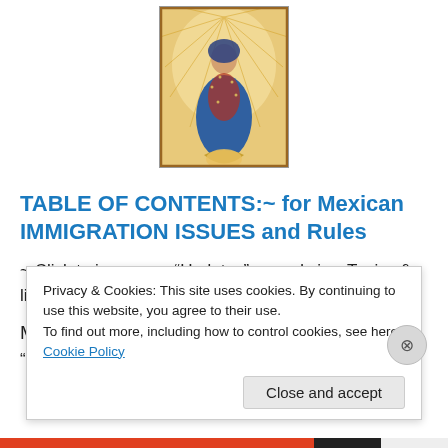[Figure (illustration): Religious icon image of Our Lady of Guadalupe, centered at top of page]
TABLE OF CONTENTS:~ for Mexican IMMIGRATION ISSUES and Rules
~ Click to jump over “Updates” … and view Topics & links to the specific Section you want.
March 19, 2022
“N/M… (partial, cut off)
Privacy & Cookies: This site uses cookies. By continuing to use this website, you agree to their use.
To find out more, including how to control cookies, see here: Cookie Policy